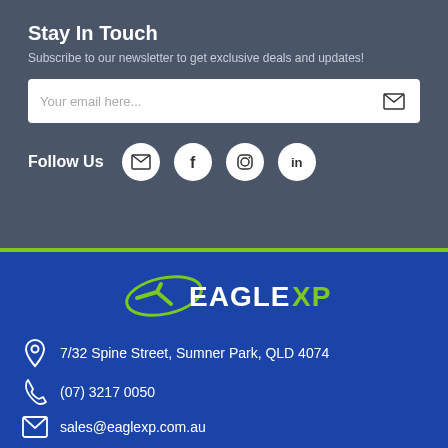Stay In Touch
Subscribe to our newsletter to get exclusive deals and updates!
Your email here...
Follow Us
[Figure (logo): EagleXP logo with green swoosh and white/green text on blue background]
7/32 Spine Street, Sumner Park, QLD 4074
(07) 3217 0050
sales@eaglexp.com.au